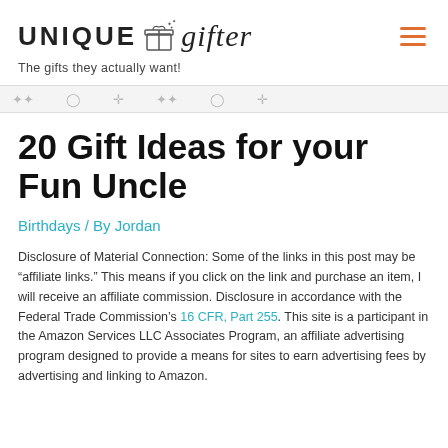UNIQUE gifter — The gifts they actually want!
20 Gift Ideas for your Fun Uncle
Birthdays / By Jordan
Disclosure of Material Connection: Some of the links in this post may be "affiliate links." This means if you click on the link and purchase an item, I will receive an affiliate commission. Disclosure in accordance with the Federal Trade Commission's 16 CFR, Part 255. This site is a participant in the Amazon Services LLC Associates Program, an affiliate advertising program designed to provide a means for sites to earn advertising fees by advertising and linking to Amazon.